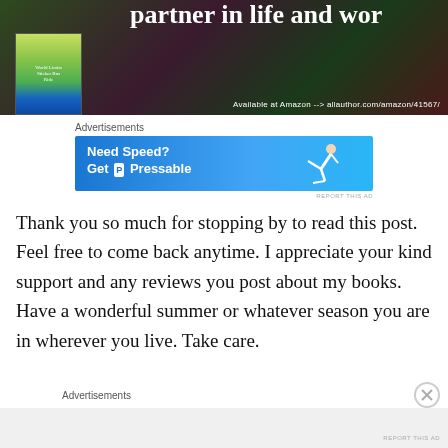[Figure (photo): Top portion of a book advertisement banner showing a book cover on the left and bold white text 'partner in life and wor' (truncated) on a dark background. Bottom right text reads 'Available at Amazon --> allauthor.com/amazon/41567/']
Advertisements
[Figure (screenshot): Blue advertisement banner reading 'Need Speed? Get P Pressable' with a person diving/flying on the right side]
REPORT THIS AD
Thank you so much for stopping by to read this post. Feel free to come back anytime. I appreciate your kind support and any reviews you post about my books. Have a wonderful summer or whatever season you are in wherever you live. Take care.
Advertisements
REPORT THIS AD